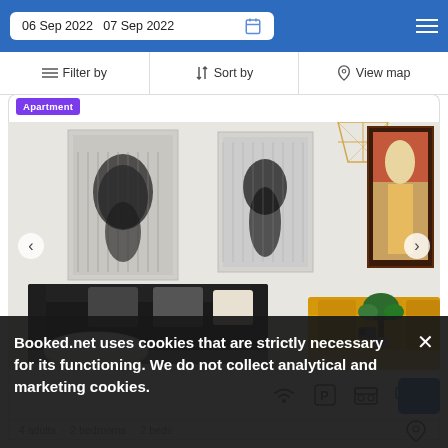06 Sep 2022   07 Sep 2022
Filter by   Sort by   View map
Apartment
[Figure (photo): Interior of an apartment showing a living room with black sofa, yellow sofa, bonsai tree, pendant lamp, and artistic black-and-white portrait paintings on the wall]
4 adults · 2 bedrooms · 2 beds
Booked.net uses cookies that are strictly necessary for its functioning. We do not collect analytical and marketing cookies.